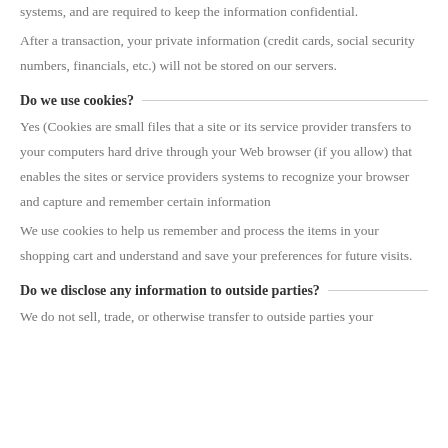systems, and are required to keep the information confidential.
After a transaction, your private information (credit cards, social security numbers, financials, etc.) will not be stored on our servers.
Do we use cookies?
Yes (Cookies are small files that a site or its service provider transfers to your computers hard drive through your Web browser (if you allow) that enables the sites or service providers systems to recognize your browser and capture and remember certain information
We use cookies to help us remember and process the items in your shopping cart and understand and save your preferences for future visits.
Do we disclose any information to outside parties?
We do not sell, trade, or otherwise transfer to outside parties your